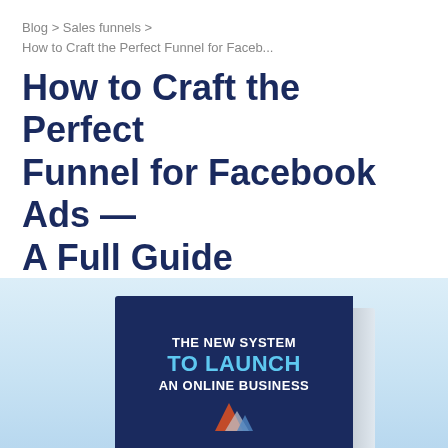Blog > Sales funnels > How to Craft the Perfect Funnel for Faceb...
How to Craft the Perfect Funnel for Facebook Ads — A Full Guide
[Figure (illustration): Book cover showing 'THE NEW SYSTEM TO LAUNCH AN ONLINE BUSINESS' on a dark navy blue background with a rocket/arrow graphic, shown as a 3D book with spine visible, set against a light blue gradient background.]